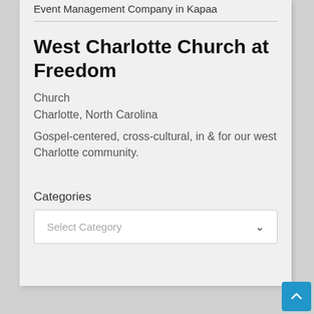Event Management Company in Kapaa
West Charlotte Church at Freedom
Church
Charlotte, North Carolina
Gospel-centered, cross-cultural, in & for our west Charlotte community.
Categories
Select Category